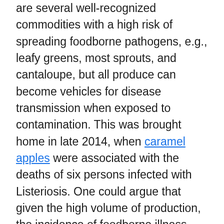are several well-recognized commodities with a high risk of spreading foodborne pathogens, e.g., leafy greens, most sprouts, and cantaloupe, but all produce can become vehicles for disease transmission when exposed to contamination. This was brought home in late 2014, when caramel apples were associated with the deaths of six persons infected with Listeriosis. One could argue that given the high volume of production, the incidence of foodborne illness attributed to produce is still relatively low. However, produce-associated outbreaks can be very widespread and the results devastating for all concerned. Food-safety professionals are becoming more familiar with applying the concepts of food hygiene in agriculture, but the art and practice of environmental sanitation in this challenging sphere is relatively new and still